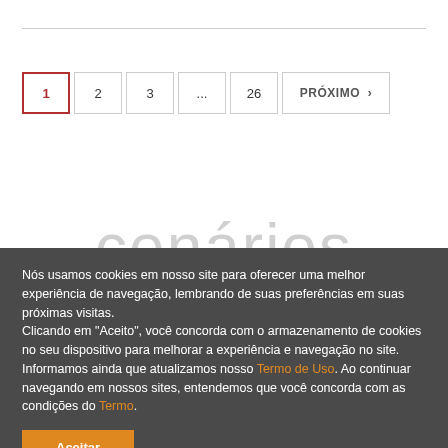1  2  3  ...  26  PRÓXIMO >
cenários
Nós usamos cookies em nosso site para oferecer uma melhor experiência de navegação, lembrando de suas preferências em suas próximas visitas.
Clicando em "Aceito", você concorda com o armazenamento de cookies no seu dispositivo para melhorar a experiência e navegação no site. Informamos ainda que atualizamos nosso Termo de Uso. Ao continuar navegando em nossos sites, entendemos que você concorda com as condições do Termo.
Aceitar